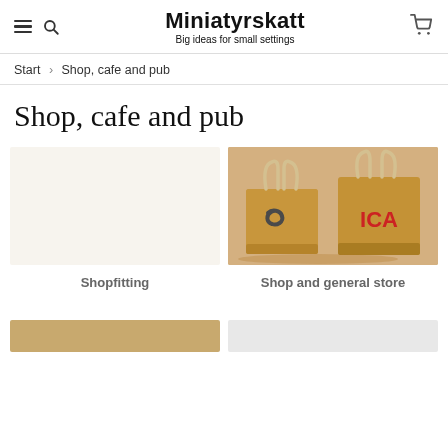Miniatyrskatt — Big ideas for small settings
Start > Shop, cafe and pub
Shop, cafe and pub
[Figure (photo): Two miniature brown paper shopping bags — one with a dark grey swirl logo, one with red ICA text logo — on a light background]
Shopfitting
Shop and general store